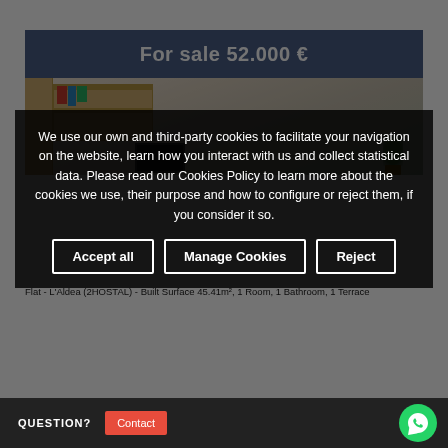[Figure (photo): Property listing photo showing an interior room with shelves, books, a TV, and a plant. A blue banner overlay reads 'For sale 52.000 €']
Flat - L'Aldea (2HOSTAL) - Built Surface 45.41m², 1 Room, 1 Bathroom, 1 Terrace
We use our own and third-party cookies to facilitate your navigation on the website, learn how you interact with us and collect statistical data. Please read our Cookies Policy to learn more about the cookies we use, their purpose and how to configure or reject them, if you consider it so.
Accept all
Manage Cookies
Reject
QUESTION?